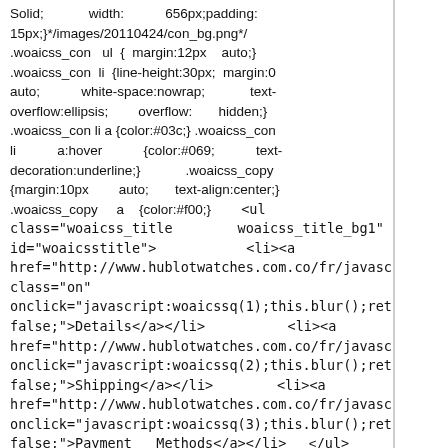Solid; width: 656px;padding:15px;}*/images/20110424/con_bg.png*/ .woaicss_con ul { margin:12px auto;} .woaicss_con li {line-height:30px; margin:0 auto; white-space:nowrap; text-overflow:ellipsis; overflow: hidden;} .woaicss_con li a {color:#03c;} .woaicss_con li a:hover {color:#069; text-decoration:underline;} .woaicss_copy {margin:10px auto; text-align:center;} .woaicss_copy a {color:#f00;} <ul class="woaicss_title woaicss_title_bg1" id="woaicsstitle"> <li><a href="http://www.hublotwatches.com.co/fr/javascript:void(0)" class="on" onclick="javascript:woaicssq(1);this.blur();return false;">Details</a></li> <li><a href="http://www.hublotwatches.com.co/fr/javascript:void(0)" onclick="javascript:woaicssq(2);this.blur();return false;">Shipping</a></li> <li><a href="http://www.hublotwatches.com.co/fr/javascript:void(0)" onclick="javascript:woaicssq(3);this.blur();return false;">Payment Methods</a></li> </ul> <strong>Information basique </strong> <ul class="pro-attr"> <li><strong>Code: </strong>342.cw.230.rw.194 </li> <li> <strong>Marque: </strong>Hublot </li> <li> <strong>Style: </strong>les hommes de 41 mm automatique, mécanique, </li><li> <strong>Matériel: </strong>Céramique </li> </ul> 0. <strong>Prix </strong>Fournir des